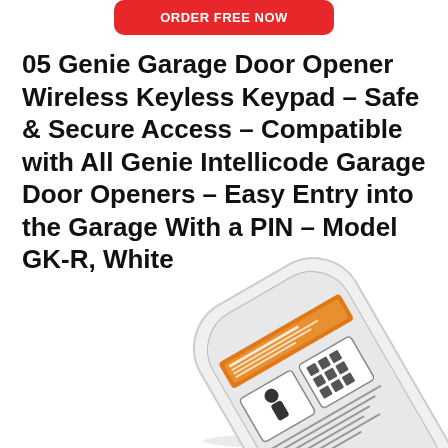[Figure (other): Red rounded rectangle button with white uppercase text partially visible at the top of the page]
05 Genie Garage Door Opener Wireless Keyless Keypad – Safe & Secure Access – Compatible with All Genie Intellicode Garage Door Openers – Easy Entry into the Garage With a PIN – Model GK-R, White
[Figure (photo): White Genie wireless keyless keypad product (Model GK-R) shown at an angle, with an orange warning label and instruction graphics visible on the back]